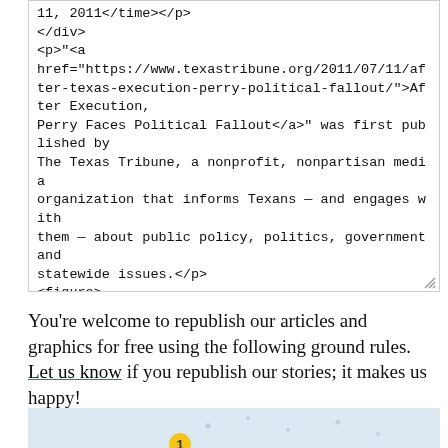11, 2011</time></p>
</div>
<p>"<a href="https://www.texastribune.org/2011/07/11/after-texas-execution-perry-political-fallout/">After Execution, Perry Faces Political Fallout</a>" was first published by The Texas Tribune, a nonprofit, nonpartisan media organization that informs Texans — and engages with them — about public policy, politics, government and statewide issues.</p>
<figure>
<figcaption>
    After Execution, Perry Faces Political Fallout
    </figcaption>
<audio controls=""
src="https://static.texastribune.org/media/audio/Largey_Leal_Political_Fallout_MIX_web.mp3">
You're welcome to republish our articles and graphics for free using the following ground rules. Let us know if you republish our stories; it makes us happy!
[Figure (other): Light blue background section at the bottom of the page, partially visible, with a yellow circular numbered marker (1) visible at the bottom center.]